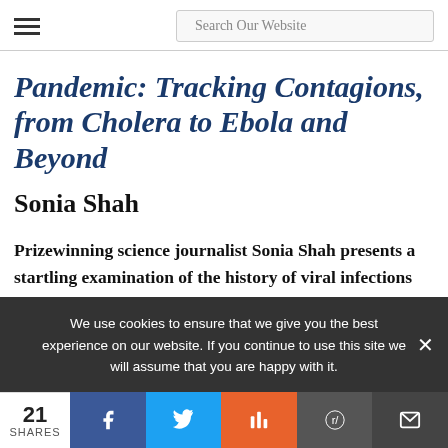Search Our Website
Pandemic: Tracking Contagions, from Cholera to Ebola and Beyond
Sonia Shah
Prizewinning science journalist Sonia Shah presents a startling examination of the history of viral infections that have ravaged humanity—and how that knowledge prepares us to stop the next worldwide outbreak.
We use cookies to ensure that we give you the best experience on our website. If you continue to use this site we will assume that you are happy with it.
21 SHARES